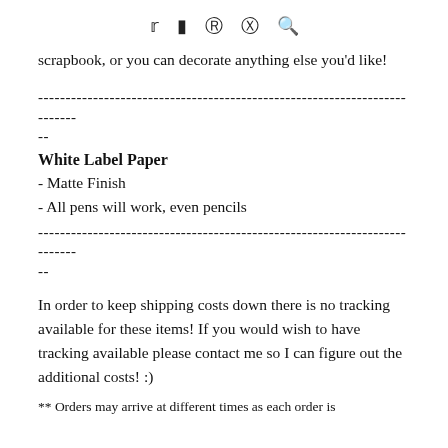social icons: twitter, facebook, pinterest, instagram, search
scrapbook, or you can decorate anything else you'd like!
--------------------------------------------------------------------------
--
White Label Paper
- Matte Finish
- All pens will work, even pencils
--------------------------------------------------------------------------
--
In order to keep shipping costs down there is no tracking available for these items! If you would wish to have tracking available please contact me so I can figure out the additional costs! :)
** Orders may arrive at different times as each order is